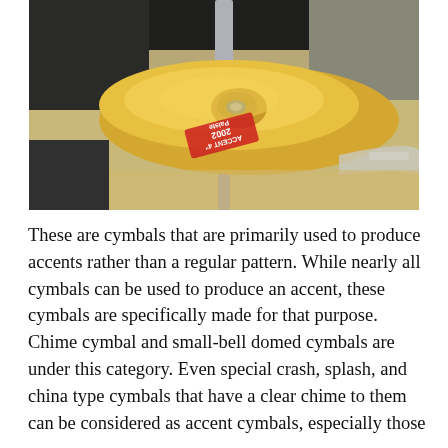[Figure (photo): Close-up photograph of a Paiste 2002 Accent 4-inch cymbal mounted on a cymbal stand, shot from above at an angle. The golden brass cymbal has a red Paiste 2002 logo label visible. The background shows a music store or studio setting.]
These are cymbals that are primarily used to produce accents rather than a regular pattern. While nearly all cymbals can be used to produce an accent, these cymbals are specifically made for that purpose. Chime cymbal and small-bell domed cymbals are under this category. Even special crash, splash, and china type cymbals that have a clear chime to them can be considered as accent cymbals, especially those